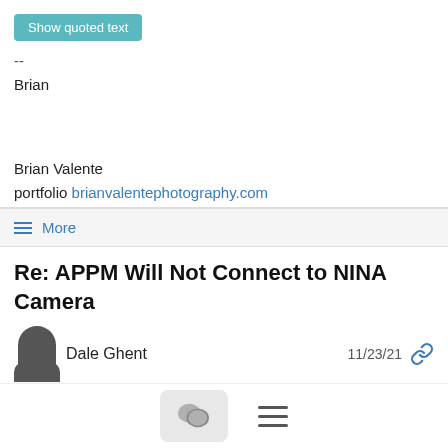Show quoted text
--
Brian
Brian Valente
portfolio brianvalentephotography.com
≡ More
Re: APPM Will Not Connect to NINA Camera
Dale Ghent   11/23/21
In NINA, did you go to Options > General and turn on Enable Server? This turns on the API service that APPM must use to